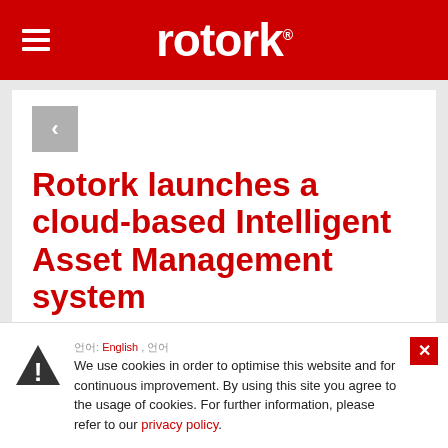rotork®
Rotork launches a cloud-based Intelligent Asset Management system
14/01/2021
We use cookies in order to optimise this website and for continuous improvement. By using this site you agree to the usage of cookies. For further information, please refer to our privacy policy.